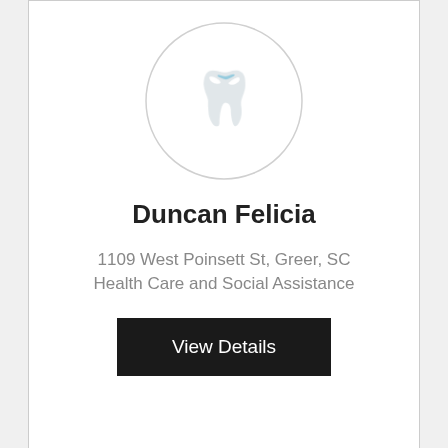[Figure (illustration): Circular avatar with a dental/tooth icon on white background - card 1]
Duncan Felicia
1109 West Poinsett St, Greer, SC
Health Care and Social Assistance
View Details
[Figure (illustration): Circular avatar with a dental/tooth icon on white background - card 2]
Call Now